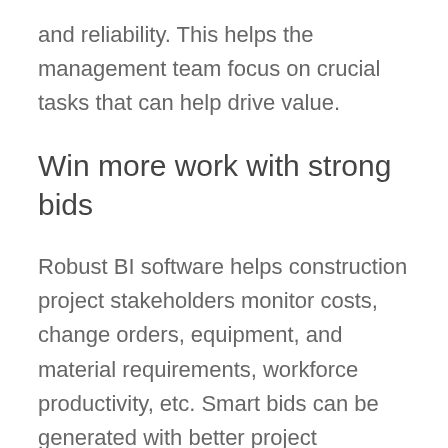and reliability. This helps the management team focus on crucial tasks that can help drive value.
Win more work with strong bids
Robust BI software helps construction project stakeholders monitor costs, change orders, equipment, and material requirements, workforce productivity, etc. Smart bids can be generated with better project forecasts, relevant and complete data helps deliver a bigger picture to visualize project improvements.
Move from mere analytics to actionable analytics